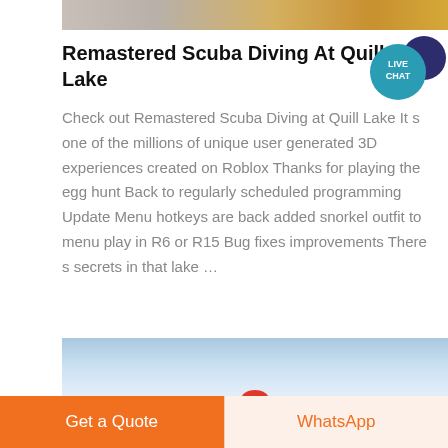[Figure (photo): Top portion of a photo showing stacked boxes or parcels with yellow/gold and white colors]
Remastered Scuba Diving At Quill Lake
[Figure (other): Live Chat badge: teal circle with LIVE CHAT text and dark navy speech bubble behind it]
Check out Remastered Scuba Diving at Quill Lake It s one of the millions of unique user generated 3D experiences created on Roblox Thanks for playing the egg hunt Back to regularly scheduled programming Update Menu hotkeys are back added snorkel outfit to menu play in R6 or R15 Bug fixes improvements There s secrets in that lake …
[Figure (photo): Bottom photo showing a blue sky with clouds and a small red element at the bottom center]
Get a Quote
WhatsApp